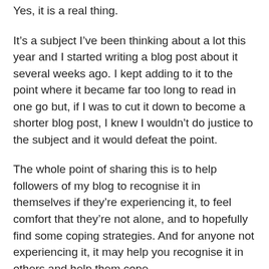Yes, it is a real thing.
It’s a subject I’ve been thinking about a lot this year and I started writing a blog post about it several weeks ago. I kept adding to it to the point where it became far too long to read in one go but, if I was to cut it down to become a shorter blog post, I knew I wouldn’t do justice to the subject and it would defeat the point.
The whole point of sharing this is to help followers of my blog to recognise it in themselves if they’re experiencing it, to feel comfort that they’re not alone, and to hopefully find some coping strategies. And for anyone not experiencing it, it may help you recognise it in others and help them cope.
So, over the course of this week, I’m releasing a